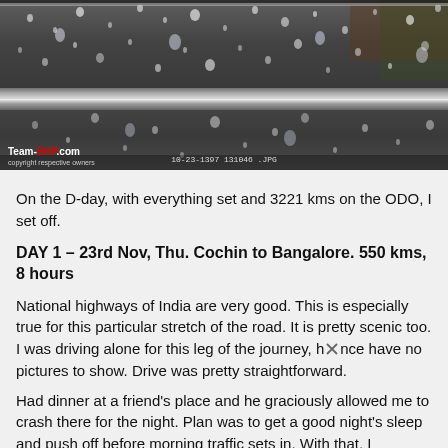[Figure (photo): Close-up photograph of a car door/window covered in raindrops, with chrome trim visible. Team-BHP.com watermark in the bottom left corner.]
On the D-day, with everything set and 3221 kms on the ODO, I set off.
DAY 1 – 23rd Nov, Thu. Cochin to Bangalore. 550 kms, 8 hours
National highways of India are very good. This is especially true for this particular stretch of the road. It is pretty scenic too. I was driving alone for this leg of the journey, hence have no pictures to show. Drive was pretty straightforward.
Had dinner at a friend's place and he graciously allowed me to crash there for the night. Plan was to get a good night's sleep and push off before morning traffic sets in. With that, I